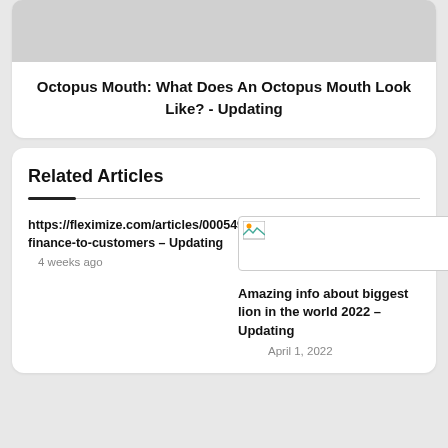[Figure (photo): Gray placeholder image at top of card]
Octopus Mouth: What Does An Octopus Mouth Look Like? - Updating
Related Articles
https://fleximize.com/articles/000549/providing-finance-to-customers – Updating
4 weeks ago
[Figure (photo): Small broken image placeholder thumbnail]
Amazing info about biggest lion in the world 2022 – Updating
April 1, 2022